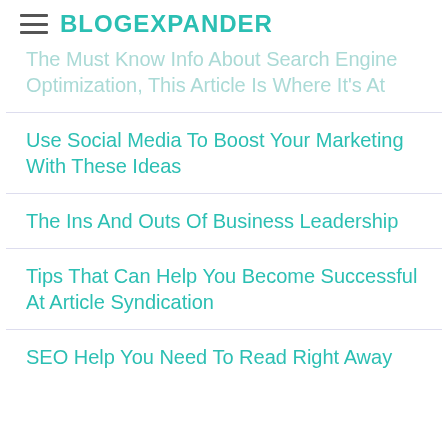BLOGEXPANDER
The Must Know Info About Search Engine Optimization, This Article Is Where It's At
Use Social Media To Boost Your Marketing With These Ideas
The Ins And Outs Of Business Leadership
Tips That Can Help You Become Successful At Article Syndication
SEO Help You Need To Read Right Away